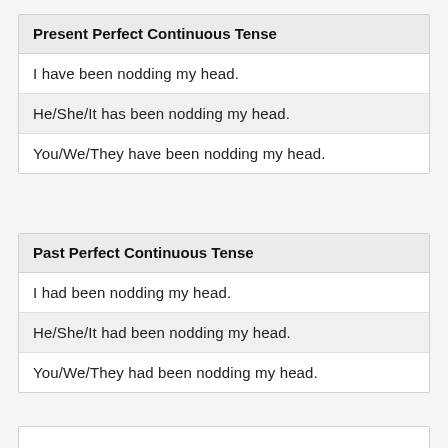Present Perfect Continuous Tense
I have been nodding my head.
He/She/It has been nodding my head.
You/We/They have been nodding my head.
Past Perfect Continuous Tense
I had been nodding my head.
He/She/It had been nodding my head.
You/We/They had been nodding my head.